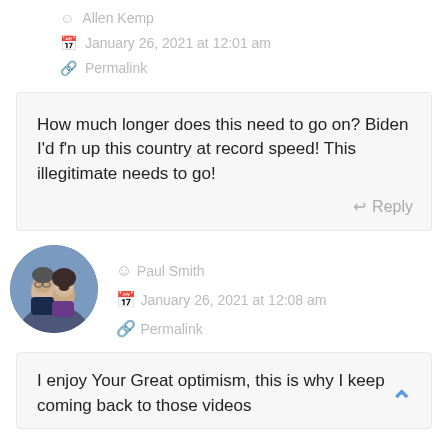Allen Kemp
January 26, 2021 at 12:01 am
Permalink
How much longer does this need to go on? Biden I'd f'n up this country at record speed! This illegitimate needs to go!
Reply
[Figure (photo): Circular profile photo of a couple, man and woman, against a blue background]
Paul Smith
January 26, 2021 at 12:08 am
Permalink
I enjoy Your Great optimism, this is why I keep coming back to those videos